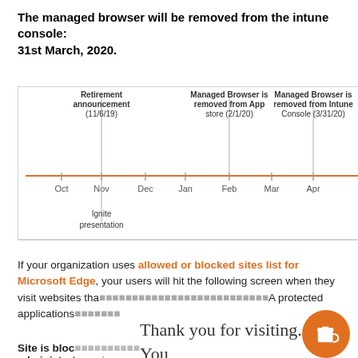The managed browser will be removed from the intune console: 31st March, 2020.
[Figure (other): Timeline diagram showing: Retirement announcement (11/6/19) in Nov, Managed Browser is removed from App store (2/1/20) in Feb, Managed Browser is removed from Intune Console (3/31/20) in Mar/Apr. Monthly axis: Oct, Nov, Dec, Jan, Feb, Mar, Apr. Below Nov: Ignite presentation.]
If your organization uses allowed or blocked sites list for Microsoft Edge, your users will hit the following screen when they visit websites tha... A protected applications...
Site is blocked ... by your administrator. using corporate account